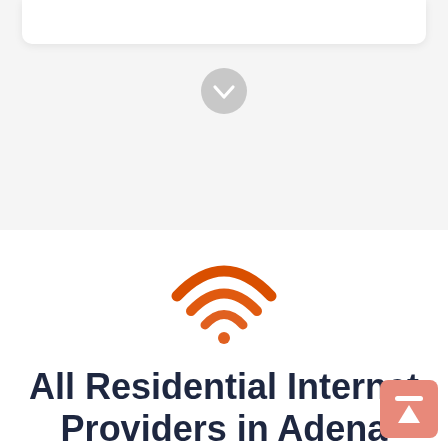[Figure (illustration): A gray circular download/scroll button with a downward arrow, centered near the top of the page]
[Figure (illustration): Orange WiFi signal icon with three arcs and a dot at the bottom]
All Residential Internet Providers in Adena